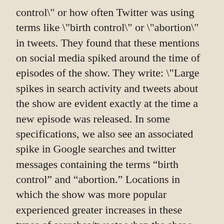control\" or how often Twitter was using terms like \"birth control\" or \"abortion\" in tweets. They found that these mentions on social media spiked around the time of episodes of the show. They write: \"Large spikes in search activity and tweets about the show are evident exactly at the time a new episode was released. In some specifications, we also see an associated spike in Google searches and twitter messages containing the terms “birth control” and “abortion.” Locations in which the show was more popular experienced greater increases in these types of searches/tweets when the show was on the air.\" The fact that a TV show can measurably reduce teen pregnancy is interesting itself, but there is perhaps a broader lesson here